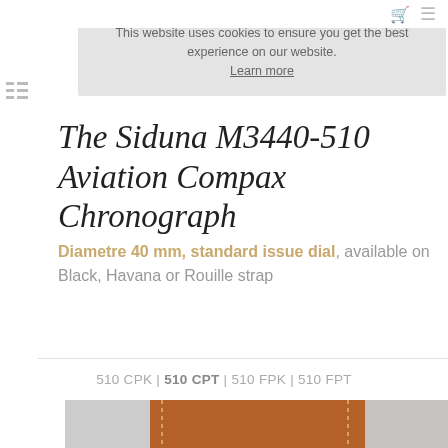This website uses cookies to ensure you get the best experience on our website. Learn more
The Siduna M3440-510 Aviation Compax Chronograph
Diametre 40 mm, standard issue dial, available on Black, Havana or Rouille strap
510 CPK | 510 CPT | 510 FPK | 510 FPT
[Figure (photo): Partial view of a brown/havana leather watch strap with stitching details]